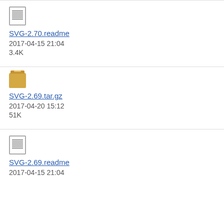SVG-2.70.readme
2017-04-15 21:04
3.4K
SVG-2.69.tar.gz
2017-04-20 15:12
51K
SVG-2.69.readme
2017-04-15 21:04